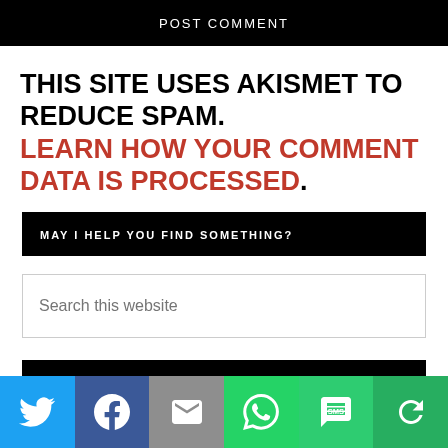POST COMMENT
THIS SITE USES AKISMET TO REDUCE SPAM. LEARN HOW YOUR COMMENT DATA IS PROCESSED.
MAY I HELP YOU FIND SOMETHING?
Search this website
CATEGORIES
[Figure (infographic): Social share bar with Twitter, Facebook, Email, WhatsApp, SMS, and More buttons]